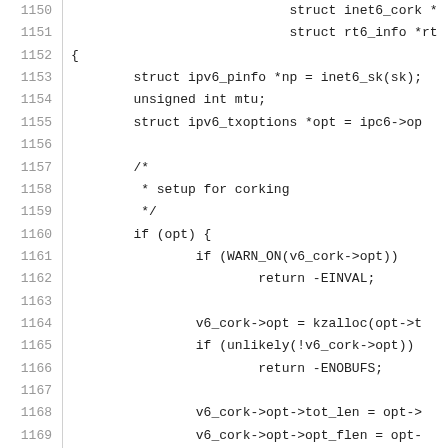[Figure (screenshot): Source code listing in monospace font showing C code for IPv6 corking setup, lines 1150-1179]